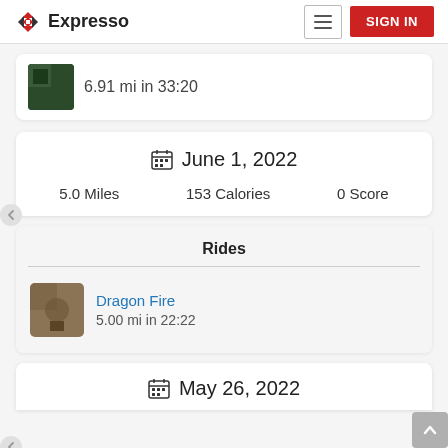[Figure (logo): Expresso app logo with diamond arrow icon and text]
6.91 mi in 33:20
📅 June 1, 2022
5.0 Miles   153 Calories   0 Score
Rides
Dragon Fire
5.00 mi in 22:22
📅 May 26, 2022